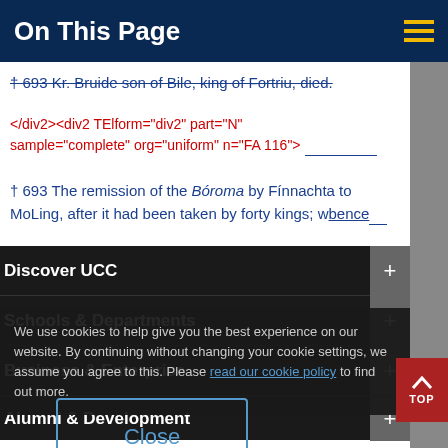On This Page
† 693 Kr. Bruide son of Bile, king of Fortriu, died.
</div2><div2 TElform="div2" part="N" sample="complete" org="uniform" n="FA 116">
† 693 The remission of the Bóroma by Fínnachta to MoLing, after it had been taken by forty kings; whence
Discover UCC
Schools & Departments
We use cookies to help give you the best experience on our website. By continuing without changing your cookie settings, we assume you agree to this. Please read our cookie policy to find out more.
Business & Enterprise
Alumni & Development
Close
Home